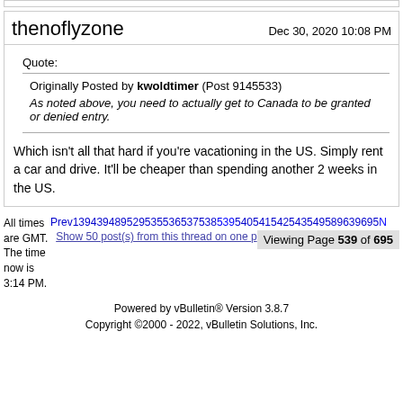thenoflyzone
Dec 30, 2020 10:08 PM
Quote:
Originally Posted by kwoldtimer (Post 9145533)
As noted above, you need to actually get to Canada to be granted or denied entry.
Which isn't all that hard if you're vacationing in the US. Simply rent a car and drive. It'll be cheaper than spending another 2 weeks in the US.
All times are GMT. The time now is 3:14 PM.
Prev1394394895295355536537538539540541542543549589639695N
Viewing Page 539 of 695
Show 50 post(s) from this thread on one p
Powered by vBulletin® Version 3.8.7
Copyright ©2000 - 2022, vBulletin Solutions, Inc.